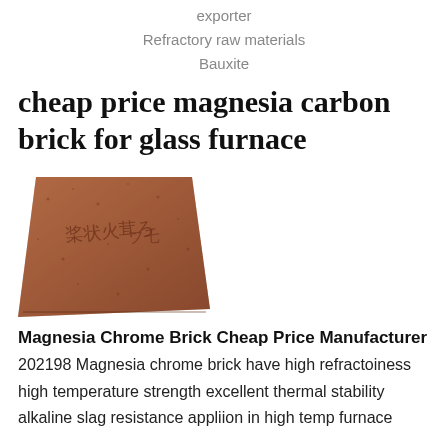exporter
Refractory raw materials
Bauxite
cheap price magnesia carbon brick for glass furnace
[Figure (photo): A reddish-brown magnesia carbon brick with Chinese text markings on its surface]
Magnesia Chrome Brick Cheap Price Manufacturer
202198 Magnesia chrome brick have high refractoiness high temperature strength excellent thermal stability alkaline slag resistance appliion in high temp furnace